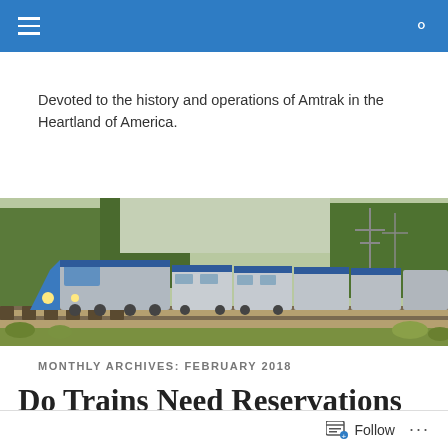Navigation bar with hamburger menu and search icon
Devoted to the history and operations of Amtrak in the Heartland of America.
[Figure (photo): An Amtrak passenger train with a blue and silver locomotive heading toward the viewer on tracks, surrounded by trees and vegetation, with power line towers visible in the background.]
MONTHLY ARCHIVES: FEBRUARY 2018
Do Trains Need Reservations
Follow